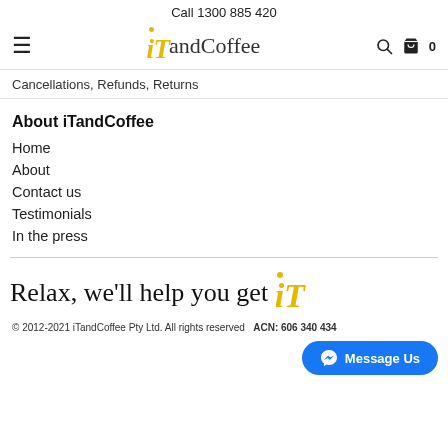Call 1300 885 420
[Figure (logo): iTandCoffee logo with yellow italic 'iT' and serif 'andCoffee' text, hamburger menu icon on left, search and cart icons on right]
Cancellations, Refunds, Returns
About iTandCoffee
Home
About
Contact us
Testimonials
In the press
Relax, we'll help you get iT
© 2012-2021 iTandCoffee Pty Ltd. All rights reserved   ACN: 606 340 434